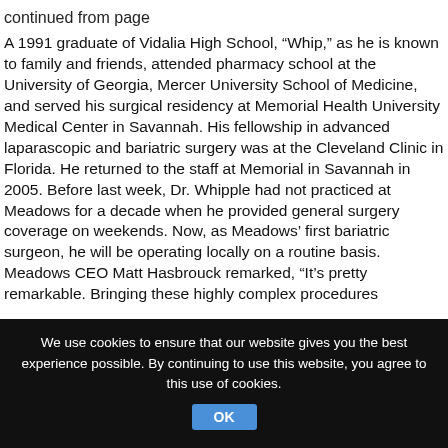continued from page
A 1991 graduate of Vidalia High School, “Whip,” as he is known to family and friends, attended pharmacy school at the University of Georgia, Mercer University School of Medicine, and served his surgical residency at Memorial Health University Medical Center in Savannah. His fellowship in advanced laparascopic and bariatric surgery was at the Cleveland Clinic in Florida. He returned to the staff at Memorial in Savannah in 2005. Before last week, Dr. Whipple had not practiced at Meadows for a decade when he provided general surgery coverage on weekends. Now, as Meadows’ first bariatric surgeon, he will be operating locally on a routine basis. Meadows CEO Matt Hasbrouck remarked, “It’s pretty remarkable. Bringing these highly complex procedures
We use cookies to ensure that our website gives you the best experience possible. By continuing to use this website, you agree to this use of cookies. OK